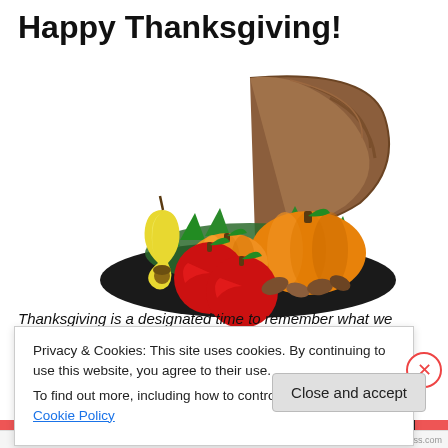Happy Thanksgiving!
[Figure (illustration): Cornucopia (horn of plenty) filled with fruits and vegetables including red apples, orange pumpkins, a yellow pear, nuts, and green leaves, on a dark oval base]
Thanksgiving is a designated time to remember what we
Privacy & Cookies: This site uses cookies. By continuing to use this website, you agree to their use.
To find out more, including how to control cookies, see here: Cookie Policy
Close and accept